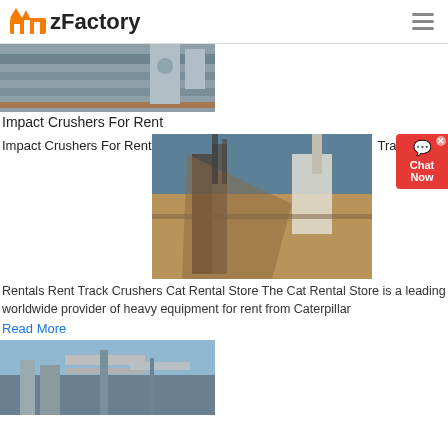zFactory
[Figure (photo): Industrial impact crusher machinery, partial view, top of page]
Impact Crushers For Rent
Impact Crushers For Rent
[Figure (photo): Outdoor track crusher conveyor belt at a mining/quarry site]
Track Crusher
Rentals Rent Track Crushers Cat Rental Store The Cat Rental Store is a leading worldwide provider of heavy equipment for rent from Caterpillar
Read More
[Figure (photo): Industrial conveyor or crusher structure against a sky background]